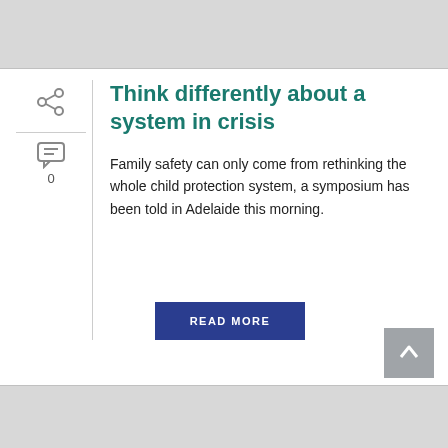[Figure (other): Gray banner area at top of page]
[Figure (other): Share icon (connected dots) in left sidebar]
[Figure (other): Comment/speech bubble icon with count 0 in left sidebar]
Think differently about a system in crisis
Family safety can only come from rethinking the whole child protection system, a symposium has been told in Adelaide this morning.
[Figure (other): READ MORE button, dark blue rectangle]
[Figure (other): Back to top arrow button, gray square with up arrow]
[Figure (other): Gray banner area at bottom of page]